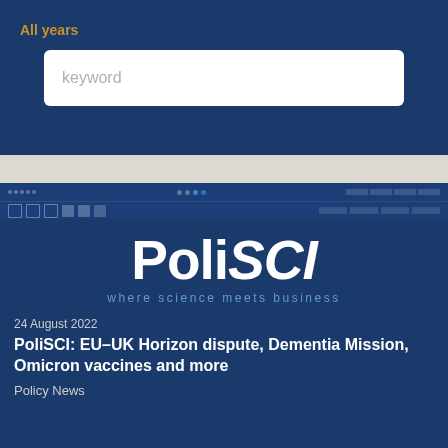keyword (search input placeholder)
[Figure (screenshot): PoliSCI website screenshot showing logo with tagline 'where science meets business', date '24 August 2022', article title 'PoliSCI: EU-UK Horizon dispute, Dementia Mission, Omicron vaccines and more', and category 'Policy News']
24 August 2022
PoliSCI: EU–UK Horizon dispute, Dementia Mission, Omicron vaccines and more
Policy News